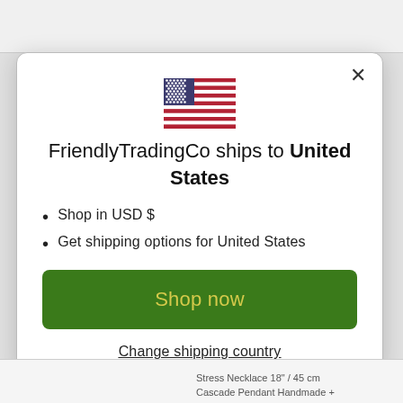[Figure (illustration): US flag emoji / illustration centered in modal]
FriendlyTradingCo ships to United States
Shop in USD $
Get shipping options for United States
Shop now
Change shipping country
Stress Necklace 18" / 45 cm Cascade Pendant Handmade +